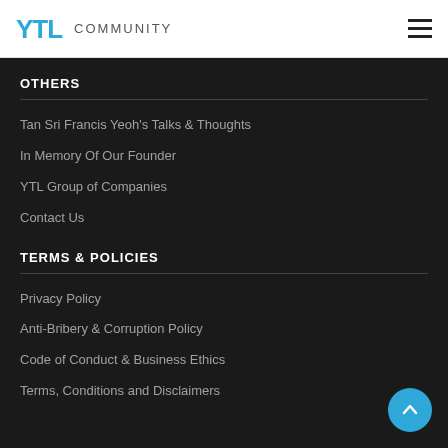YTL COMMUNITY
OTHERS
Tan Sri Francis Yeoh's Talks & Thoughts
In Memory Of Our Founder
YTL Group of Companies
Contact Us
TERMS & POLICIES
Privacy Policy
Anti-Bribery & Corruption Policy
Code of Conduct & Business Ethics
Terms, Conditions and Disclaimers